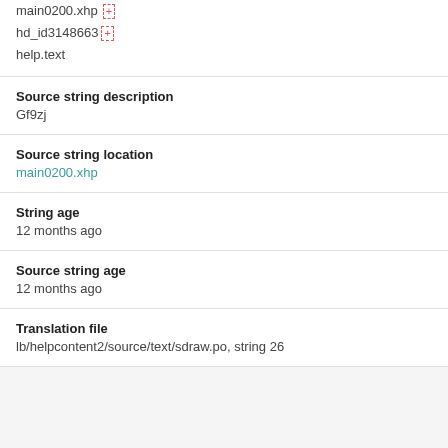main0200.xhp
hd_id3148663
help.text
Source string description
Gf9zj
Source string location
main0200.xhp
String age
12 months ago
Source string age
12 months ago
Translation file
lb/helpcontent2/source/text/sdraw.po, string 26